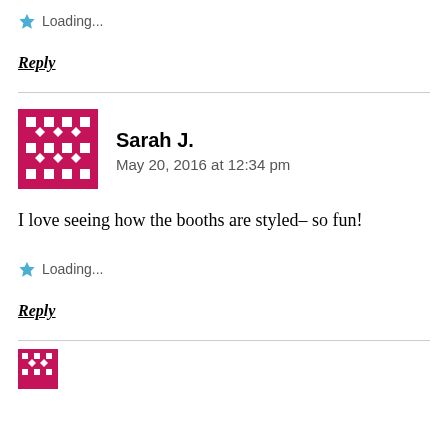Loading...
Reply
Sarah J.
May 20, 2016 at 12:34 pm
I love seeing how the booths are styled– so fun!
Loading...
Reply